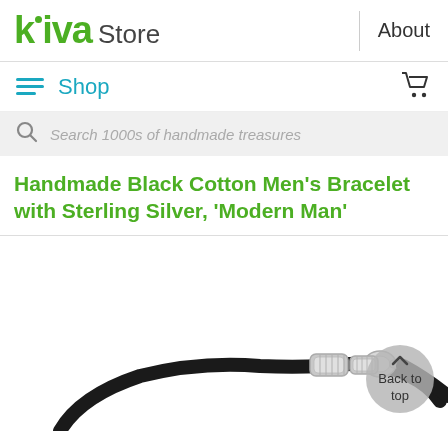kiva Store | About
Shop
Search 1000s of handmade treasures
Handmade Black Cotton Men's Bracelet with Sterling Silver, 'Modern Man'
[Figure (photo): Close-up photo of a black cotton bracelet with sterling silver barrel clasp on white background]
Back to top